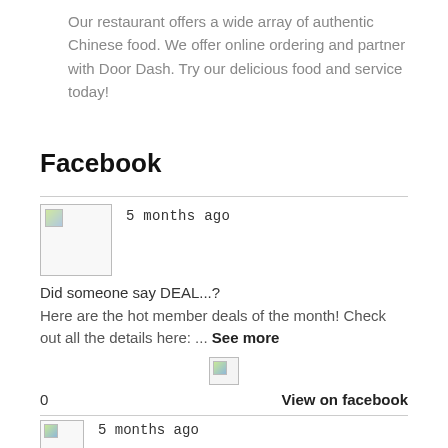Our restaurant offers a wide array of authentic Chinese food. We offer online ordering and partner with Door Dash. Try our delicious food and service today!
Facebook
5 months ago
Did someone say DEAL...?
Here are the hot member deals of the month! Check out all the details here: ... See more
0
View on facebook
5 months ago